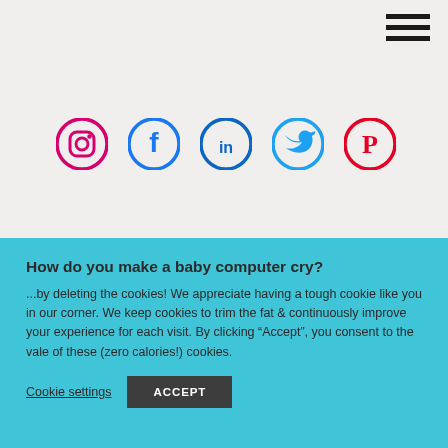[Figure (other): Hamburger menu icon with three horizontal dark lines in the top-right corner]
[Figure (other): Row of five social media icons: Instagram (pink/red circle), Facebook (blue circle), LinkedIn (blue circle), Twitter (light blue circle), Pinterest (red circle)]
How do you make a baby computer cry?
...by deleting the cookies! We appreciate having a tough cookie like you in our corner. We keep cookies to trim the fat & continuously improve your experience for each visit. By clicking "Accept", you consent to the vale of these (zero calories!) cookies.
Cookie settings
ACCEPT